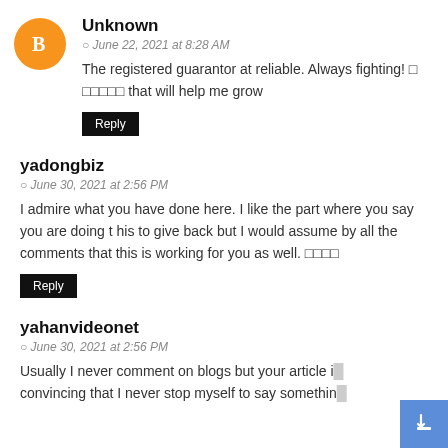Unknown
June 22, 2021 at 8:28 AM
The registered guarantor at reliable. Always fighting! 🅰 🅱🅲🅳🅴 that will help me grow
Reply
yadongbiz
June 30, 2021 at 2:56 PM
I admire what you have done here. I like the part where you say you are doing t his to give back but I would assume by all the comments that this is working for you as well. 🅰🅱🅲🅳
Reply
yahanvideonet
June 30, 2021 at 2:56 PM
Usually I never comment on blogs but your article is convincing that I never stop myself to say something about it to leave a comment right to say. Thank for